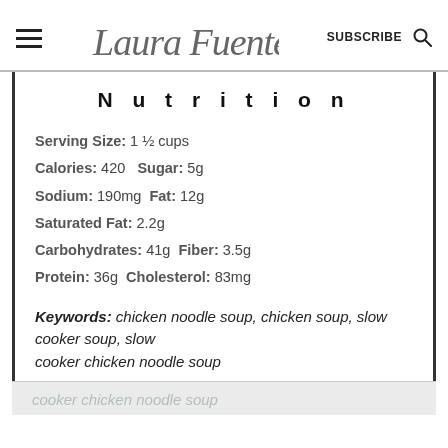Laura Fuentes — SUBSCRIBE
Nutrition
Serving Size: 1 ½ cups
Calories: 420   Sugar: 5g
Sodium: 190mg   Fat: 12g
Saturated Fat: 2.2g
Carbohydrates: 41g   Fiber: 3.5g
Protein: 36g   Cholesterol: 83mg
Keywords: chicken noodle soup, chicken soup, slow cooker soup, slow cooker chicken noodle soup
cooker chicken noodle soup